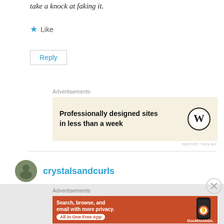take a knock at faking it.
★ Like
Reply
Advertisements
[Figure (other): WordPress advertisement: 'Professionally designed sites in less than a week' with WordPress logo]
REPORT THIS AD
crystalsandcurls
Advertisements
[Figure (other): DuckDuckGo advertisement: 'Search, browse, and email with more privacy. All in One Free App' with DuckDuckGo logo on phone]